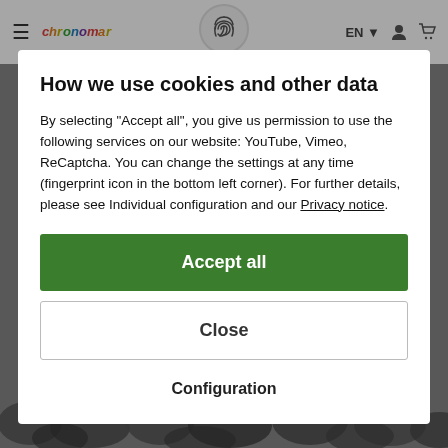≡  Chronomor  [fingerprint icon]  EN ▾  [user icon]  [cart icon]
How we use cookies and other data
By selecting "Accept all", you give us permission to use the following services on our website: YouTube, Vimeo, ReCaptcha. You can change the settings at any time (fingerprint icon in the bottom left corner). For further details, please see Individual configuration and our Privacy notice.
Accept all
Close
Configuration
[Figure (photo): Dark rocks/gravel visible at bottom of page behind modal]